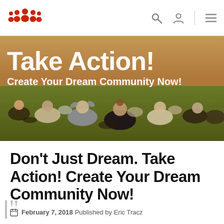[Figure (logo): Red people/community icon logo]
[Figure (photo): Banner image with people sitting on grass at an outdoor gathering. Bold white text overlay reads 'Take Action!' and 'Create Your Dream Community Now!']
Don't Just Dream. Take Action! Create Your Dream Community Now!
February 7, 2018 Published by Eric Tracz